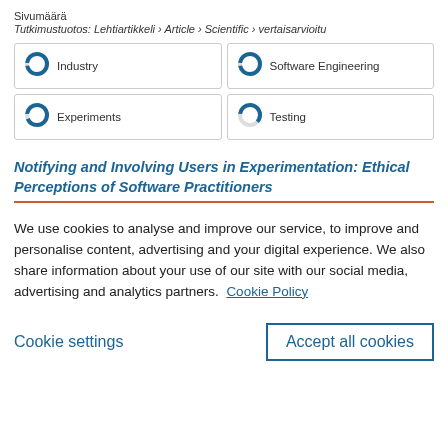Sivumäärä
Tutkimustuotos: Lehtiartikkeli › Article › Scientific › vertaisarvioitu
[Figure (infographic): Four badges in a 2x2 grid, each with a donut/ring chart icon and a label: Industry (nearly full blue ring), Software Engineering (nearly full blue ring), Experiments (nearly full blue ring), Testing (about 60% blue ring)]
Notifying and Involving Users in Experimentation: Ethical Perceptions of Software Practitioners
We use cookies to analyse and improve our service, to improve and personalise content, advertising and your digital experience. We also share information about your use of our site with our social media, advertising and analytics partners. Cookie Policy
Cookie settings
Accept all cookies